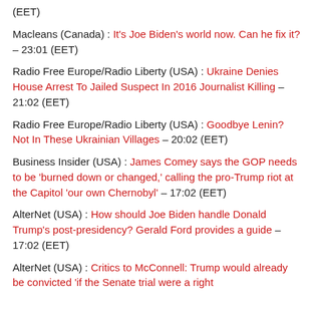(EET)
Macleans (Canada) : It’s Joe Biden’s world now. Can he fix it? – 23:01 (EET)
Radio Free Europe/Radio Liberty (USA) : Ukraine Denies House Arrest To Jailed Suspect In 2016 Journalist Killing – 21:02 (EET)
Radio Free Europe/Radio Liberty (USA) : Goodbye Lenin? Not In These Ukrainian Villages – 20:02 (EET)
Business Insider (USA) : James Comey says the GOP needs to be ‘burned down or changed,’ calling the pro-Trump riot at the Capitol ‘our own Chernobyl’ – 17:02 (EET)
AlterNet (USA) : How should Joe Biden handle Donald Trump’s post-presidency? Gerald Ford provides a guide – 17:02 (EET)
AlterNet (USA) : Critics to McConnell: Trump would already be convicted ‘if the Senate trial were a right...